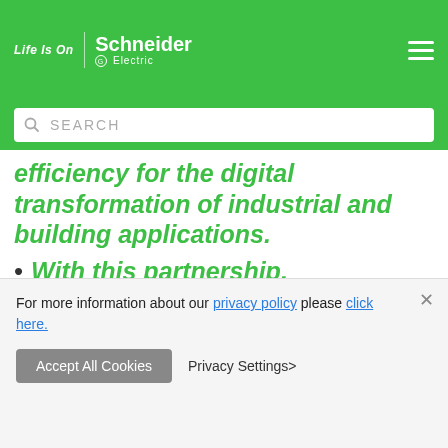Life Is On | Schneider Electric
SEARCH
efficiency for the digital transformation of industrial and building applications.
With this partnership, GreenYellow takes a new step in its international development and significantly accelerates the deployment of its
For more information about our privacy policy please click here.
Accept All Cookies   Privacy Settings>